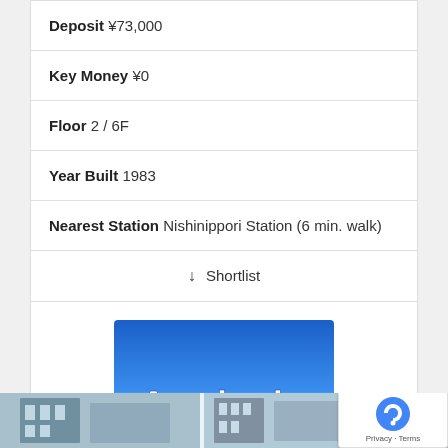Deposit ¥73,000
Key Money ¥0
Floor 2 / 6F
Year Built 1983
Nearest Station Nishinippori Station (6 min. walk)
↓ Shortlist
[Figure (logo): Aonissin company logo — blue gradient background with white text 'Aonissin']
AONISSIN CO.,LTD.
[Figure (photo): Bottom strip showing partial building exterior photos]